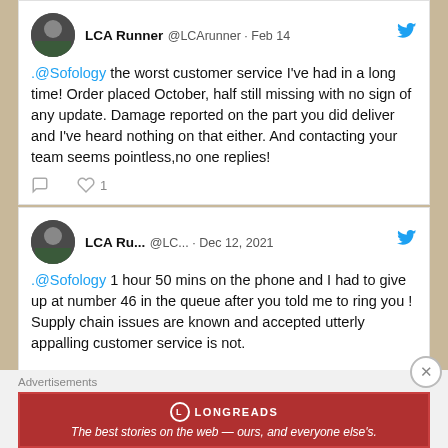[Figure (screenshot): Screenshot of two tweets from LCA Runner (@LCArunner) complaining about Sofology customer service, with an advertisements banner at the bottom from Longreads.]
LCA Runner @LCArunner · Feb 14
.@Sofology the worst customer service I've had in a long time! Order placed October, half still missing with no sign of any update. Damage reported on the part you did deliver and I've heard nothing on that either. And contacting your team seems pointless,no one replies!
LCA Ru... @LC... · Dec 12, 2021
.@Sofology 1 hour 50 mins on the phone and I had to give up at number 46 in the queue after you told me to ring you ! Supply chain issues are known and accepted utterly appalling customer service is not.
Advertisements
[Figure (advertisement): Longreads advertisement banner: red background, Longreads logo, tagline 'The best stories on the web — ours, and everyone else's.']